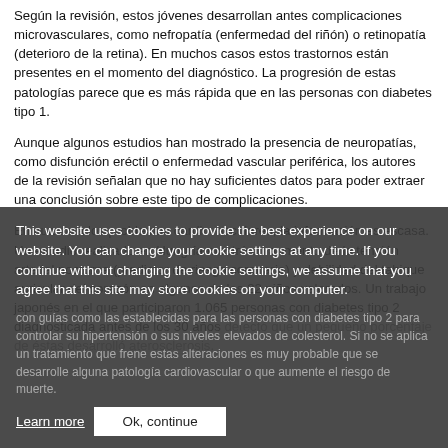Según la revisión, estos jóvenes desarrollan antes complicaciones microvasculares, como nefropatía (enfermedad del riñón) o retinopatía (deterioro de la retina). En muchos casos estos trastornos están presentes en el momento del diagnóstico. La progresión de estas patologías parece que es más rápida que en las personas con diabetes tipo 1.
Aunque algunos estudios han mostrado la presencia de neuropatías, como disfunción eréctil o enfermedad vascular periférica, los autores de la revisión señalan que no hay suficientes datos para poder extraer una conclusión sobre este tipo de complicaciones.
En cuanto a los problemas cardiovasculares, la información es escasa. Un estudio realizado en Hungría mostró un aumento de la tensión arterial nocturna (predictor de riesgo coronario) y debilidad del tabique auricular del corazón en algunos de los 22 niños valorados. Un trabajo japonés en el que participaron 1.065 personas con diabetes tipo 2 diagnosticada antes de los 30 años detectó que un pequeño porcentaje de éstas desarrolló aterosclerosis.
Por otro lado, los autores destacan que estos pacientes no cuentan con guías como las establecidas para las personas con diabetes tipo 2 para controlar su hipertensión o sus niveles elevados de colesterol. Si no se aplica un tratamiento que frene estas alteraciones es muy probable que se desarrolle alguna patología cardiovascular o que aumente el riesgo de muerte.
This website uses cookies to provide the best experience on our website. You can change your cookie settings at any time. If you continue without changing the cookie settings, we assume that you agree that this site may store cookies on your computer.